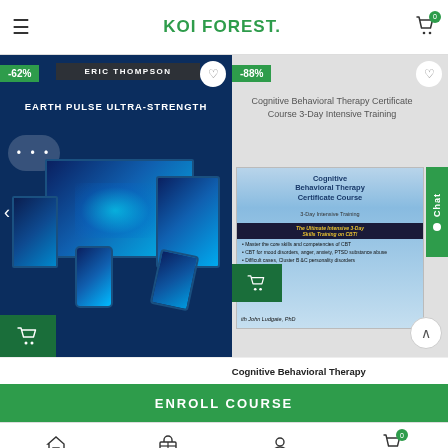KOI FOREST.
[Figure (screenshot): Product card for 'Earth Pulse Ultra-Strength' by Eric Thompson with -62% badge and cart icon on dark blue background with device images]
[Figure (screenshot): Product card for 'Cognitive Behavioral Therapy Certificate Course 3-Day Intensive Training' with -88% badge, book cover image, and chat widget]
Cognitive Behavioral Therapy
ENROLL COURSE
Home  Shop  My account  Cart